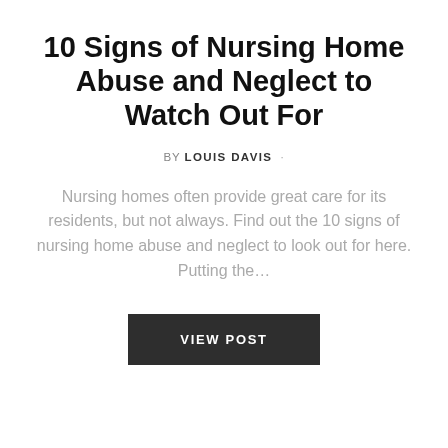10 Signs of Nursing Home Abuse and Neglect to Watch Out For
BY LOUIS DAVIS ·
Nursing homes often provide great care for its residents, but not always. Find out the 10 signs of nursing home abuse and neglect to look out for here. Putting the…
VIEW POST